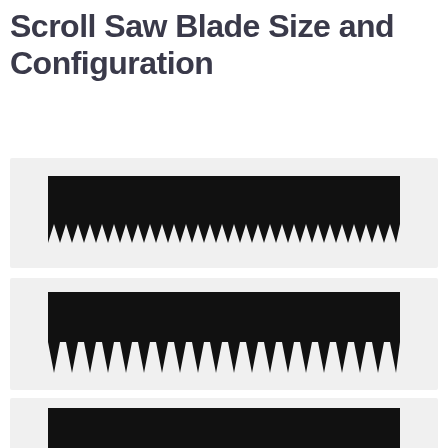Scroll Saw Blade Size and Configuration
[Figure (illustration): Black silhouette of a scroll saw blade with small uniform teeth (fine tooth pattern), horizontal orientation on light gray background]
[Figure (illustration): Black silhouette of a scroll saw blade with medium triangular teeth (skip tooth pattern), horizontal orientation on light gray background]
[Figure (illustration): Black silhouette of a scroll saw blade with large irregular teeth (reverse skip or crown tooth pattern), horizontal orientation on light gray background]
[Figure (illustration): Black silhouette of a scroll saw blade (fourth type, partially visible), horizontal orientation on light gray background]